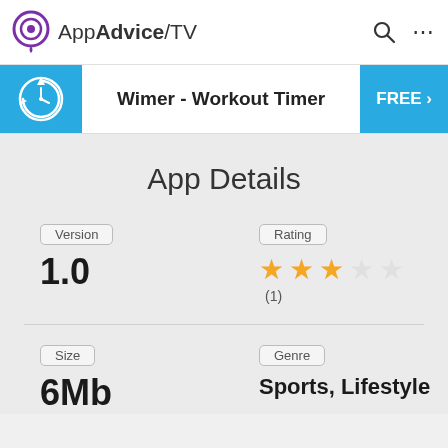AppAdvice/TV
Wimer - Workout Timer  FREE >
App Details
| Version | Rating |
| --- | --- |
| 1.0 | ★★★ (1) |
| Size | Genre |
| --- | --- |
| 6Mb | Sports, Lifestyle |